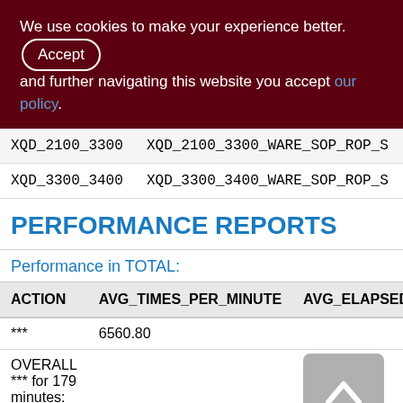We use cookies to make your experience better. By accepting and further navigating this website you accept our policy.
| XQD_2100_3300 | XQD_2100_3300_WARE_SOP_ROP_S |
| XQD_3300_3400 | XQD_3300_3400_WARE_SOP_ROP_S |
PERFORMANCE REPORTS
Performance in TOTAL:
| ACTION | AVG_TIMES_PER_MINUTE | AVG_ELAPSED |
| --- | --- | --- |
| *** | 6560.80 |  |
| OVERALL
*** for 179 minutes: |  |  |